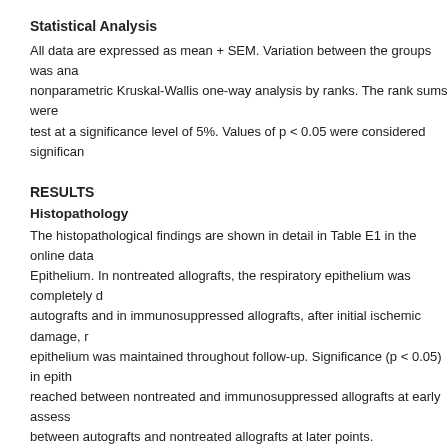Statistical Analysis
All data are expressed as mean + SEM. Variation between the groups was analyzed by nonparametric Kruskal-Wallis one-way analysis by ranks. The rank sums were test at a significance level of 5%. Values of p < 0.05 were considered significant.
RESULTS
Histopathology
The histopathological findings are shown in detail in Table E1 in the online data. Epithelium. In nontreated allografts, the respiratory epithelium was completely destroyed. In autografts and in immunosuppressed allografts, after initial ischemic damage, respiratory epithelium was maintained throughout follow-up. Significance (p < 0.05) in epithelium was reached between nontreated and immunosuppressed allografts at early assessments and between autografts and nontreated allografts at later points.
Obliteration. No luminal obliteration was evident in autografts and in allografts receiving immunosuppressive therapy and in allografts receiving immunosuppressive therapy. In nontreated allografts, fibroproliferative tissue protruding into the bronchial lumen was first seen and obliteration was complete by Day 21 (p < 0.05 when compared with autografts.